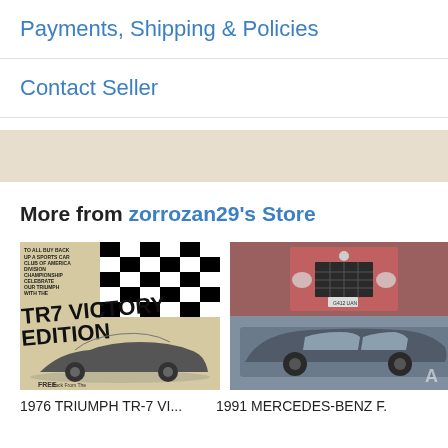Payments, Shipping & Policies
Contact Seller
More from zorrozan29's Store
[Figure (photo): 1976 Triumph TR-7 Victory Edition car advertisement with checkered flag pattern]
1976 TRIUMPH TR-7 VI...
[Figure (photo): 1991 Mercedes-Benz showing red car from front and grey/dark car from side]
1991 MERCEDES-BENZ F.